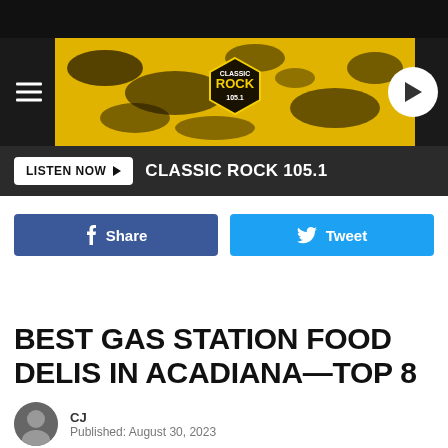[Figure (screenshot): Classic Rock 105.1 radio station website header banner with yellow and black splatter design and logo]
LISTEN NOW ▶   CLASSIC ROCK 105.1
[Figure (infographic): Facebook Share button (blue) and Twitter Tweet button (light blue) side by side]
BEST GAS STATION FOOD DELIS IN ACADIANA—TOP 8
CJ
Published: August 30, 2023